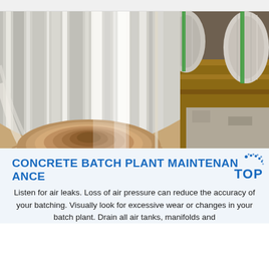[Figure (photo): Large rolls of shiny aluminum or steel metal coil/sheet material, showing the metallic cross-section of a tightly wound coil in the foreground, with additional rolls and wooden pallets in the background.]
CONCRETE BATCH PLANT MAINTENANCE TOP
Listen for air leaks. Loss of air pressure can reduce the accuracy of your batching. Visually look for excessive wear or changes in your batch plant. Drain all air tanks, manifolds and